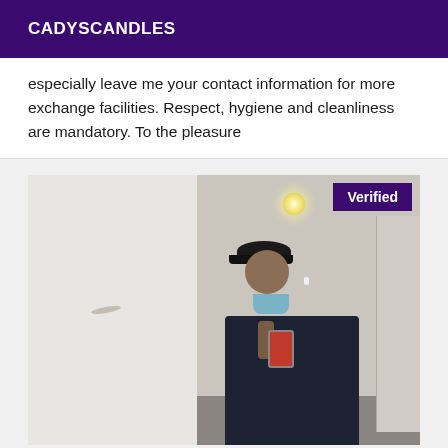CADYSCANDLES
especially leave me your contact information for more exchange facilities. Respect, hygiene and cleanliness are mandatory. To the pleasure
[Figure (photo): Mirror selfie of a person in a bathroom wearing a face mask pulled down, a dark cap, earphones, and dark t-shirt, holding a phone to take the photo. A 'Verified' badge appears in the top right corner of the image.]